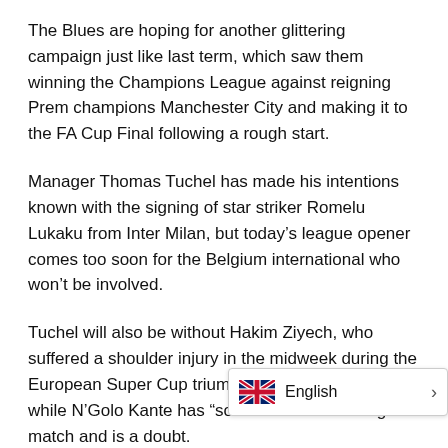The Blues are hoping for another glittering campaign just like last term, which saw them winning the Champions League against reigning Prem champions Manchester City and making it to the FA Cup Final following a rough start.
Manager Thomas Tuchel has made his intentions known with the signing of star striker Romelu Lukaku from Inter Milan, but today's league opener comes too soon for the Belgium international who won't be involved.
Tuchel will also be without Hakim Ziyech, who suffered a shoulder injury in the midweek during the European Super Cup triumph against Villarreal, while N'Golo Kante has “some issues” following that match and is a doubt.
New Palace manager Patrick Vieira, [obscured] be missing summer loan signing Conor [obscured]